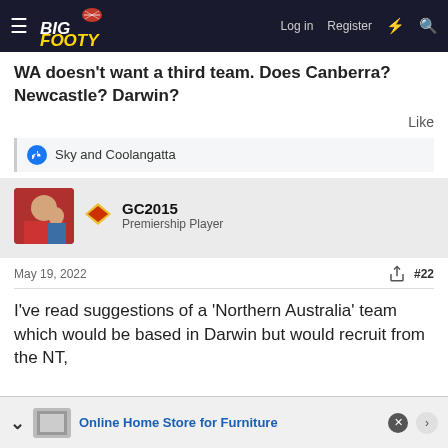BigFooty – Log in | Register
WA doesn't want a third team. Does Canberra? Newcastle? Darwin?
Like
Sky and Coolangatta
GC2015
Premiership Player
May 19, 2022  #22
I've read suggestions of a 'Northern Australia' team which would be based in Darwin but would recruit from the NT,
Online Home Store for Furniture